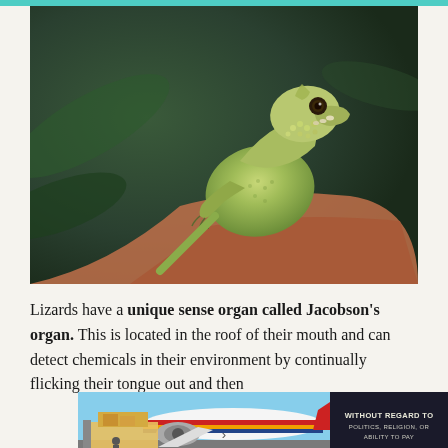[Figure (photo): Close-up photo of a green lizard (water dragon or similar species) perched on an orange/red surface, looking upward. Blurred green foliage in background. The lizard has distinctive scales on its face and dewlap area.]
Lizards have a unique sense organ called Jacobson's organ. This is located in the roof of their mouth and can detect chemicals in their environment by continually flicking their tongue out and then
[Figure (photo): Advertisement banner showing cargo being loaded onto a Southwest Airlines airplane on a tarmac, with text 'WITHOUT REGARD TO POLITICS, RELIGION, OR ABILITY TO PAY' on the right side in white on dark background.]